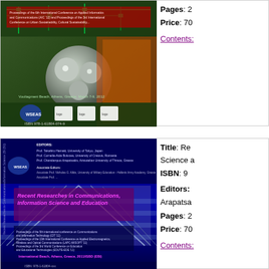[Figure (photo): Book cover: conference proceedings with circuit board / mechanical imagery, ISBN 978-1-61804-074-9, Vouliagmeni Beach, Athens Greece March 7-9 2012]
Pages: 2
Price: 70
Contents:
[Figure (photo): Book cover: Recent Researches in Communications, Information Science and Education - blue cover with architectural imagery, pink/purple title text, proceedings of multiple international conferences, International Beach, Athens Greece]
Title: Recent Researches in Communications, Information Science and Education
ISBN: 9-
Editors: Arapatsa
Pages: 2
Price: 70
Contents: